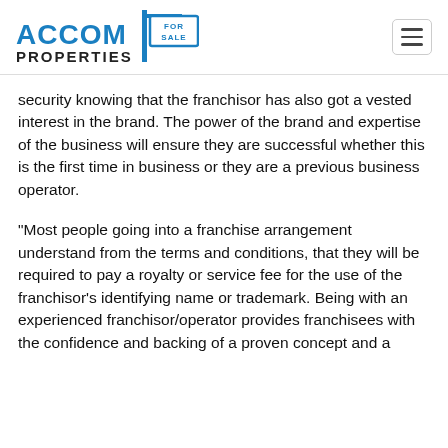ACCOM PROPERTIES FOR SALE
security knowing that the franchisor has also got a vested interest in the brand. The power of the brand and expertise of the business will ensure they are successful whether this is the first time in business or they are a previous business operator.
“Most people going into a franchise arrangement understand from the terms and conditions, that they will be required to pay a royalty or service fee for the use of the franchisor’s identifying name or trademark. Being with an experienced franchisor/operator provides franchisees with the confidence and backing of a proven concept and a